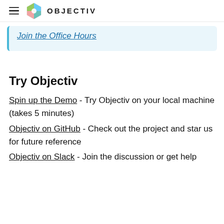OBJECTIV
Join the Office Hours
Try Objectiv
Spin up the Demo - Try Objectiv on your local machine (takes 5 minutes)
Objectiv on GitHub - Check out the project and star us for future reference
Objectiv on Slack - Join the discussion or get help